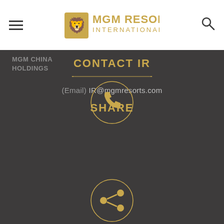MGM RESORTS INTERNATIONAL
MGM CHINA HOLDINGS
[Figure (infographic): Golden phone/call icon inside a golden circle on dark background]
CONTACT IR
(Email) IR@mgmresorts.com
[Figure (infographic): Golden share icon inside a golden circle on dark background]
SHARE